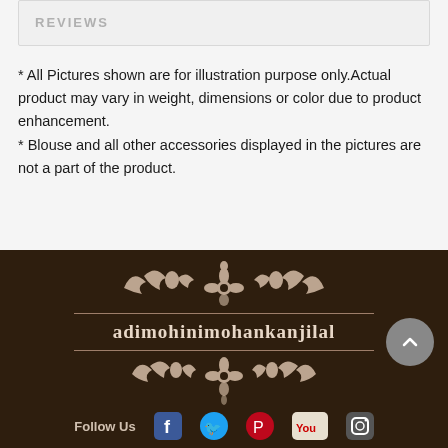REVIEWS
* All Pictures shown are for illustration purpose only.Actual product may vary in weight, dimensions or color due to product enhancement.
* Blouse and all other accessories displayed in the pictures are not a part of the product.
[Figure (logo): Decorative ornamental divider with brand name: adimohinimohankanjilal on dark brown footer background]
Follow Us [Facebook] [Twitter] [Pinterest] [YouTube] [Instagram]